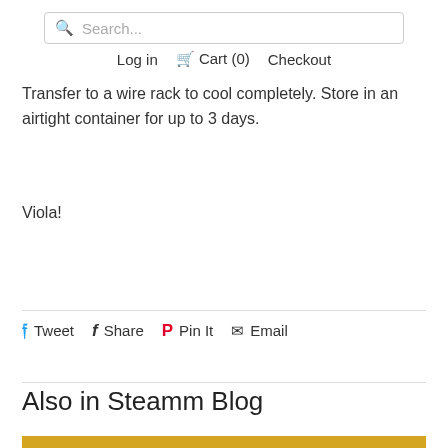Search...
Log in  Cart (0)  Checkout
Transfer to a wire rack to cool completely. Store in an airtight container for up to 3 days.
Viola!
Tweet  Share  Pin It  Email
Also in Steamm Blog
[Figure (photo): A person with curly hair against a yellow/golden background, partially visible at the bottom of the page.]